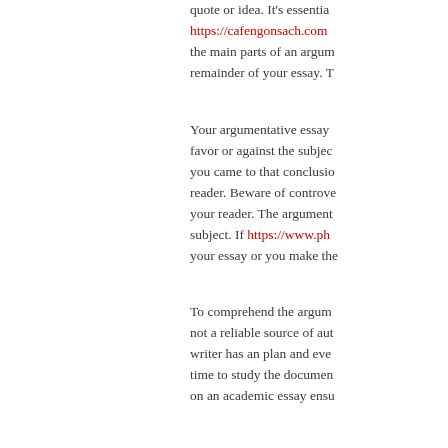quote or idea. It's essentia https://cafengonsach.com the main parts of an argun remainder of your essay. T
Your argumentative essay favor or against the subjec you came to that conclusio reader. Beware of controve your reader. The argument subject. If https://www.ph your essay or you make the
To comprehend the argum not a reliable source of aut writer has an plan and eve time to study the documen on an academic essay ensu